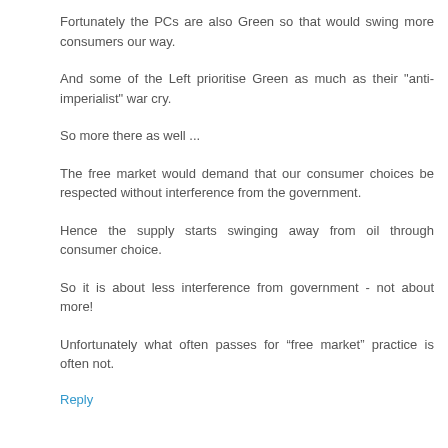Fortunately the PCs are also Green so that would swing more consumers our way.
And some of the Left prioritise Green as much as their "anti-imperialist" war cry.
So more there as well ...
The free market would demand that our consumer choices be respected without interference from the government.
Hence the supply starts swinging away from oil through consumer choice.
So it is about less interference from government - not about more!
Unfortunately what often passes for “free market” practice is often not.
Reply